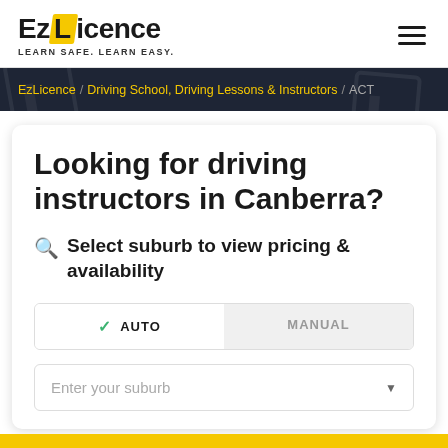[Figure (logo): EzLicence logo with yellow Z block and tagline LEARN SAFE. LEARN EASY.]
EzLicence / Driving School, Driving Lessons & Instructors / ACT
Looking for driving instructors in Canberra?
Select suburb to view pricing & availability
AUTO | MANUAL
Enter your suburb